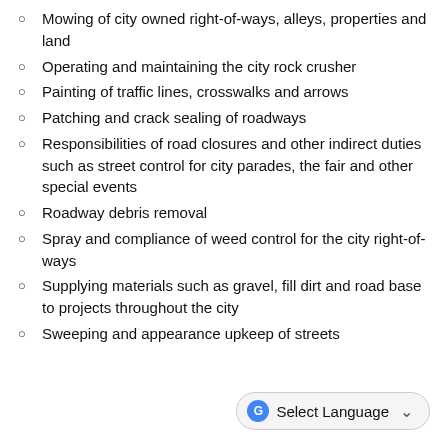Mowing of city owned right-of-ways, alleys, properties and land
Operating and maintaining the city rock crusher
Painting of traffic lines, crosswalks and arrows
Patching and crack sealing of roadways
Responsibilities of road closures and other indirect duties such as street control for city parades, the fair and other special events
Roadway debris removal
Spray and compliance of weed control for the city right-of-ways
Supplying materials such as gravel, fill dirt and road base to projects throughout the city
Sweeping and appearance upkeep of streets